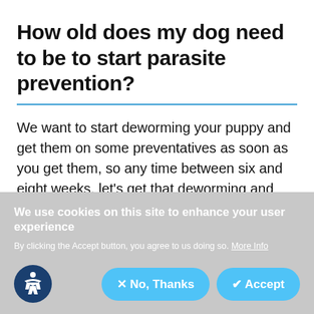How old does my dog need to be to start parasite prevention?
We want to start deworming your puppy and get them on some preventatives as soon as you get them, so any time between six and eight weeks, let's get that deworming and flea prevention started. We'd get heartworm…
We use cookies on this site to enhance your user experience
By clicking the Accept button, you agree to us doing so. More Info